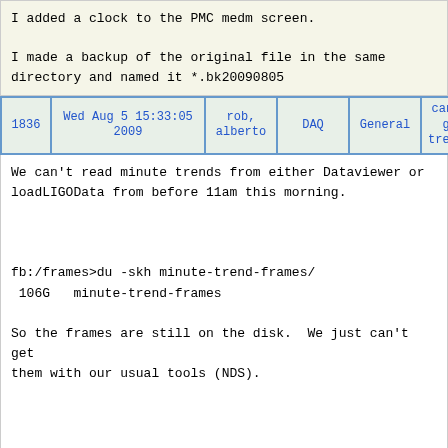I added a clock to the PMC medm screen.

I made a backup of the original file in the same directory and named it *.bk20090805
| 1836 | Wed Aug 5 15:33:05 2009 | rob, alberto | DAQ | General | can't get trends |
| --- | --- | --- | --- | --- | --- |
We can't read minute trends from either Dataviewer or loadLIGOData from before 11am this morning.


fb:/frames>du -skh minute-trend-frames/
 106G   minute-trend-frames

So the frames are still on the disk.  We just can't get them with our usual tools (NDS).


 Trying to read 60 days of minute trends from C1:PSL-PMC_TRANSPD yields:

Connecting to NDS Server fb40m (TCP port 8088)
Connecting.... done
258.0 minutes of trend displayed
read(); errno=9
read(); errno=9
TS 09 06 06 23 34 03: length 5194000 (s)